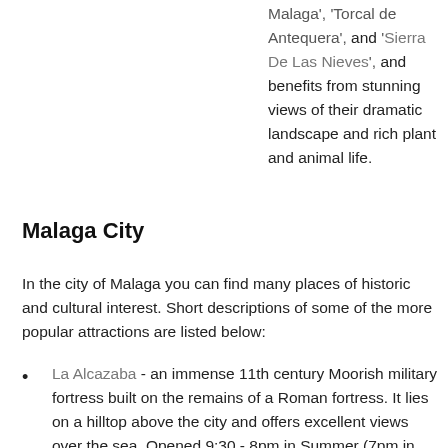Malaga', 'Torcal de Antequera', and 'Sierra De Las Nieves',  and benefits from stunning views of their dramatic landscape and rich plant and animal life.
Malaga City
In the city of Malaga you can find many places of historic and cultural interest. Short descriptions of some of the more popular attractions are listed below:
La Alcazaba - an immense 11th century Moorish military fortress built on the remains of a Roman fortress. It lies on a hilltop above the city and offers excellent views over the sea. Opened 9:30 - 8pm in Summer (7pm in winter), 952 227230.
The Picasso Museum - near to the site of Picasso's birthplace at the Plaza de la Merced. Visitors may like to take advantage of the free opening every last Sunday of the month. Open 10am - 8pm (9pm fri &